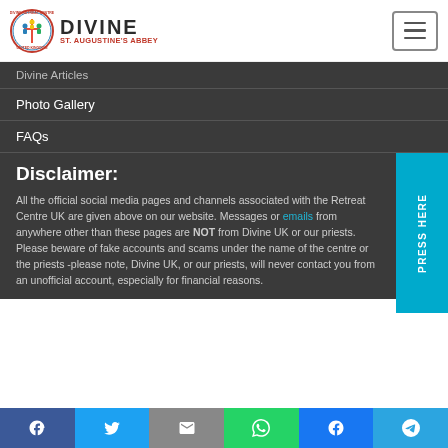[Figure (logo): Divine Retreat Centre UK logo with circular badge and text 'DIVINE ST. AUGUSTINE'S ABBEY']
Divine Articles
Photo Gallery
FAQs
Disclaimer:
All the official social media pages and channels associated with the Retreat Centre UK are given above on our website. Messages or emails from anywhere other than these pages are NOT from Divine UK or our priests. Please beware of fake accounts and scams under the name of the centre or the priests -please note, Divine UK, or our priests, will never contact you from an unofficial account, especially for financial reasons.